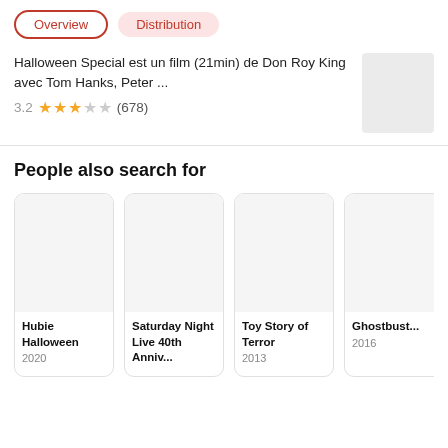Overview
Distribution
Halloween Special est un film (21min) de Don Roy King avec Tom Hanks, Peter ...
3.2 ★★★☆☆ (678)
People also search for
Hubie Halloween 2020
Saturday Night Live 40th Anniv...
Toy Story of Terror 2013
Ghostbust... 2016
T 2